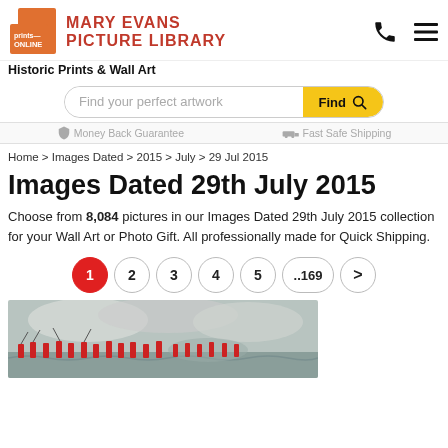[Figure (logo): Prints Online logo with orange square and text, Mary Evans Picture Library title in red]
Historic Prints & Wall Art
[Figure (screenshot): Search bar with placeholder 'Find your perfect artwork' and yellow 'Find' button with magnifying glass icon]
Money Back Guarantee   Fast Safe Shipping
Home > Images Dated > 2015 > July > 29 Jul 2015
Images Dated 29th July 2015
Choose from 8,084 pictures in our Images Dated 29th July 2015 collection for your Wall Art or Photo Gift. All professionally made for Quick Shipping.
1 2 3 4 5 ..169 >
[Figure (photo): Historic battle scene painting showing soldiers in red uniforms amid smoke and waves]